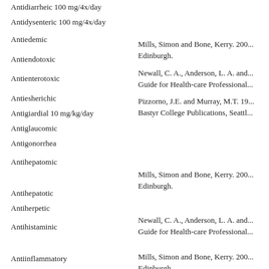Antidiarrheic 100 mg/4x/day
Antidysenteric 100 mg/4x/day
Antiedemic
Mills, Simon and Bone, Kerry. 200... Edinburgh.
Antiendotoxic
Newall, C. A., Anderson, L. A. and... Guide for Health-care Professional...
Antienterotoxic
Pizzorno, J.E. and Murray, M.T. 19... Bastyr College Publications, Seattl...
Antiesherichic
Antigiardial 10 mg/kg/day
Antiglaucomic
Antigonorrhea
Antihepatomic
Mills, Simon and Bone, Kerry. 200... Edinburgh.
Antihepatotic
Antiherpetic
Antihistaminic
Newall, C. A., Anderson, L. A. and... Guide for Health-care Professional...
Antiinflammatory
Antiischemic
Mills, Simon and Bone, Kerry. 200... Edinburgh.